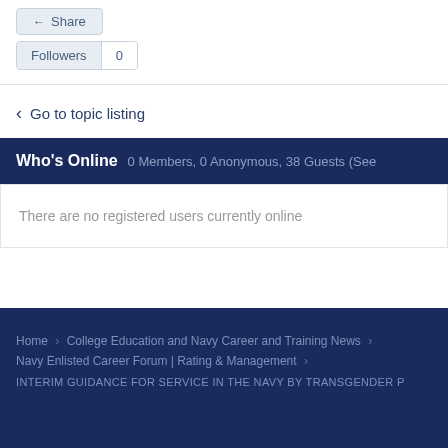Share
Followers  0
< Go to topic listing
Who's Online  0 Members, 0 Anonymous, 38 Guests (See
There are no registered users currently online
Home > College Education and Navy Career and Training News > Navy Enlisted Career Forum | Rating & Management > INTERIM GUIDANCE FOR SERVICE IN THE NAVY BY TRANSGENDER P